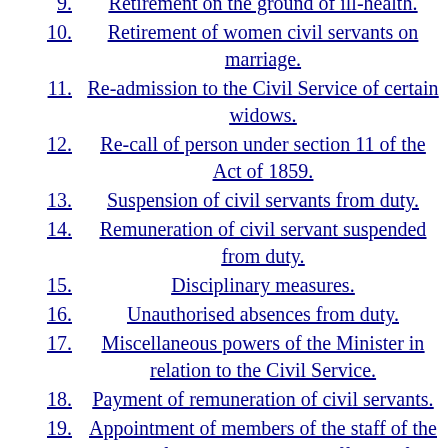9. Retirement on the ground of ill-health.
10. Retirement of women civil servants on marriage.
11. Re-admission to the Civil Service of certain widows.
12. Re-call of person under section 11 of the Act of 1859.
13. Suspension of civil servants from duty.
14. Remuneration of civil servant suspended from duty.
15. Disciplinary measures.
16. Unauthorised absences from duty.
17. Miscellaneous powers of the Minister in relation to the Civil Service.
18. Payment of remuneration of civil servants.
19. Appointment of members of the staff of the Houses of the Oireachtas and officers of the Attorney